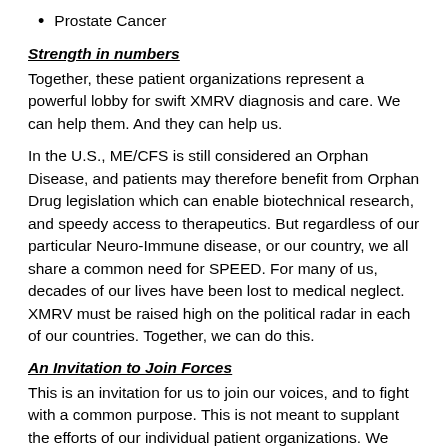Prostate Cancer
Strength in numbers
Together, these patient organizations represent a powerful lobby for swift XMRV diagnosis and care. We can help them. And they can help us.
In the U.S., ME/CFS is still considered an Orphan Disease, and patients may therefore benefit from Orphan Drug legislation which can enable biotechnical research, and speedy access to therapeutics. But regardless of our particular Neuro-Immune disease, or our country, we all share a common need for SPEED. For many of us, decades of our lives have been lost to medical neglect. XMRV must be raised high on the political radar in each of our countries. Together, we can do this.
An Invitation to Join Forces
This is an invitation for us to join our voices, and to fight with a common purpose. This is not meant to supplant the efforts of our individual patient organizations. We need them to further our unique needs. But this proposal is that we join forces in our areas of XMRV crossover. Specifically, we share the same